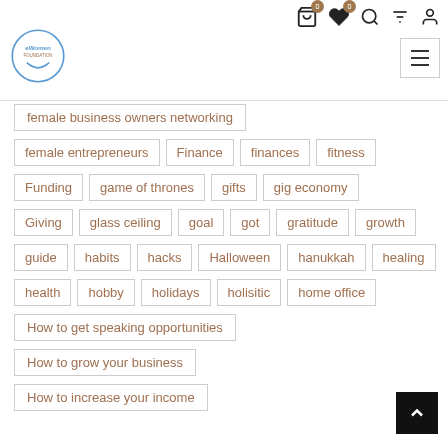eWomen Foundation — navigation header with cart, wishlist, search, filter, account icons and hamburger menu
female business owners networking
female entrepreneurs
Finance
finances
fitness
Funding
game of thrones
gifts
gig economy
Giving
glass ceiling
goal
got
gratitude
growth
guide
habits
hacks
Halloween
hanukkah
healing
health
hobby
holidays
holisitic
home office
How to get speaking opportunities
How to grow your business
How to increase your income